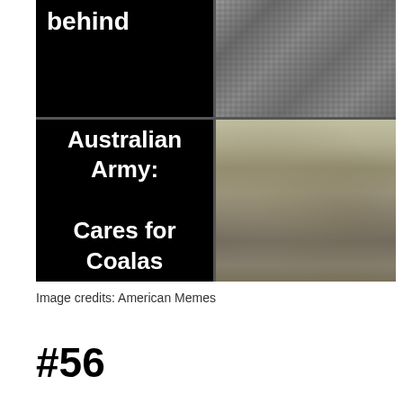[Figure (photo): Composite image with two panels. Top-left: black background with bold white text reading 'behind'. Top-right: aerial photo of soldiers on rocky/gravel terrain. Bottom-left: black background with bold white text reading 'Australian Army: Cares for Coalas'. Bottom-right: photo of soldiers in camouflage sitting in a row holding koalas.]
Image credits: American Memes
#56